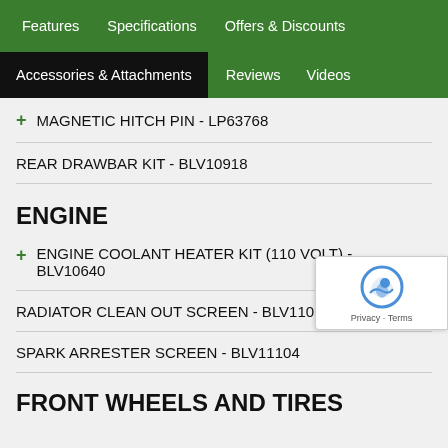Features | Specifications | Offers & Discounts | Accessories & Attachments | Reviews | Videos
+ MAGNETIC HITCH PIN - LP63768
REAR DRAWBAR KIT - BLV10918
ENGINE
+ ENGINE COOLANT HEATER KIT (110 VOLT) - BLV10640
RADIATOR CLEAN OUT SCREEN - BLV1102
SPARK ARRESTER SCREEN - BLV11104
FRONT WHEELS AND TIRES